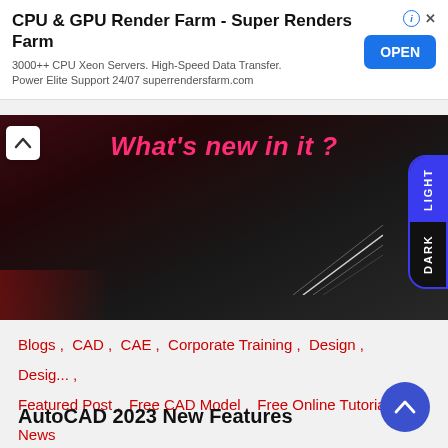CPU & GPU Render Farm - Super Renders Farm
3000++ CPU Xeon Servers. High-Speed Data Transfer. Power Elite Support 24/07 superrendersfarm.com
[Figure (photo): Dark themed banner image with text 'What's new in it?' in pink/red color, with decorative light streaks on a dark background. A LIGHT/DARK mode toggle pill is overlaid on the right side.]
Blogs , CAD , CAE , Corporate Training , Design , Design , Featured Post , Free CAD Model , Free Online Tutorial , News
AutoCAD 2023 New Features